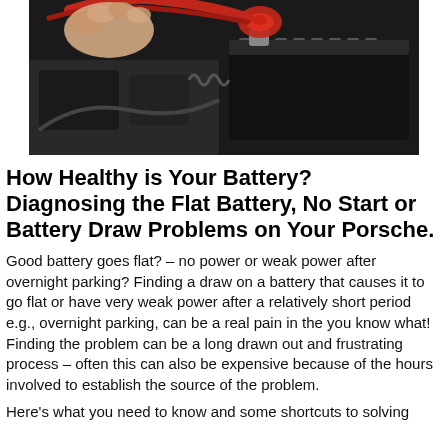[Figure (photo): Close-up photo of hands connecting red jumper cables to a car battery terminal, with a dark engine bay in the background.]
How Healthy is Your Battery? Diagnosing the Flat Battery, No Start or Battery Draw Problems on Your Porsche.
Good battery goes flat? – no power or weak power after overnight parking? Finding a draw on a battery that causes it to go flat or have very weak power after a relatively short period e.g., overnight parking, can be a real pain in the you know what! Finding the problem can be a long drawn out and frustrating process – often this can also be expensive because of the hours involved to establish the source of the problem.
Here's what you need to know and some shortcuts to solving